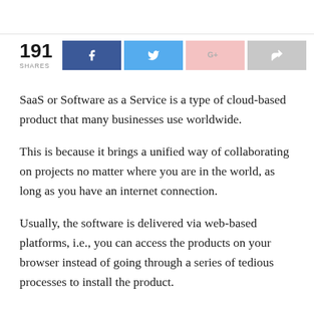[Figure (infographic): Social share bar showing 191 shares with Facebook, Twitter, Google+, and generic share buttons]
SaaS or Software as a Service is a type of cloud-based product that many businesses use worldwide.
This is because it brings a unified way of collaborating on projects no matter where you are in the world, as long as you have an internet connection.
Usually, the software is delivered via web-based platforms, i.e., you can access the products on your browser instead of going through a series of tedious processes to install the product.